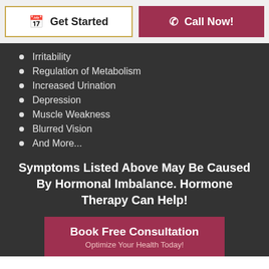Get Started | Call Now!
Irritability
Regulation of Metabolism
Increased Urination
Depression
Muscle Weakness
Blurred Vision
And More...
Symptoms Listed Above May Be Caused By Hormonal Imbalance. Hormone Therapy Can Help!
Book Free Consultation
Optimize Your Health Today!